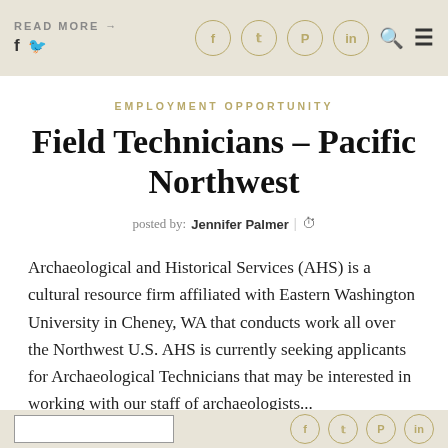READ MORE → | f 🐦 | social icons | search | menu
EMPLOYMENT OPPORTUNITY
Field Technicians – Pacific Northwest
posted by: Jennifer Palmer | ⏱
Archaeological and Historical Services (AHS) is a cultural resource firm affiliated with Eastern Washington University in Cheney, WA that conducts work all over the Northwest U.S. AHS is currently seeking applicants for Archaeological Technicians that may be interested in working with our staff of archaeologists...
Read more button | social icons